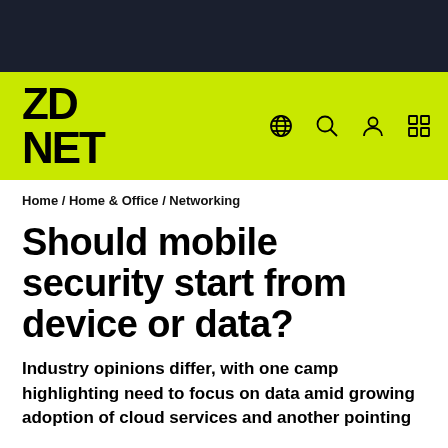ZDNET
Home / Home & Office / Networking
Should mobile security start from device or data?
Industry opinions differ, with one camp highlighting need to focus on data amid growing adoption of cloud services and another pointing